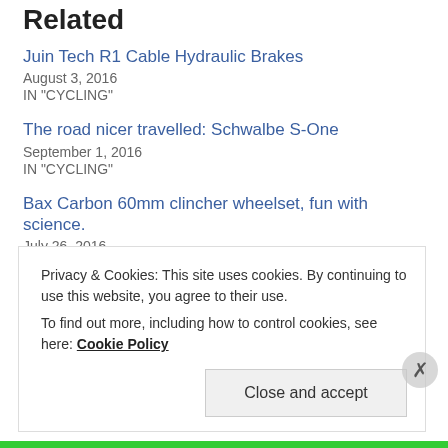Related
Juin Tech R1 Cable Hydraulic Brakes
August 3, 2016
IN "CYCLING"
The road nicer travelled: Schwalbe S-One
September 1, 2016
IN "CYCLING"
Bax Carbon 60mm clincher wheelset, fun with science.
July 26, 2016
Privacy & Cookies: This site uses cookies. By continuing to use this website, you agree to their use.
To find out more, including how to control cookies, see here: Cookie Policy